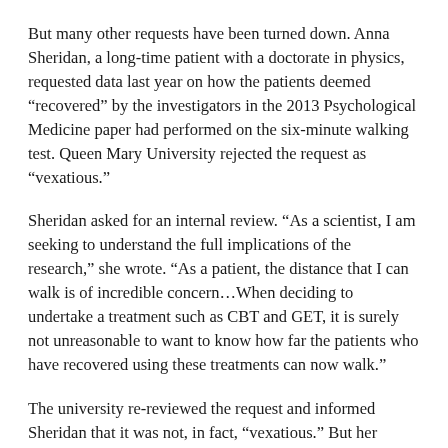But many other requests have been turned down. Anna Sheridan, a long-time patient with a doctorate in physics, requested data last year on how the patients deemed “recovered” by the investigators in the 2013 Psychological Medicine paper had performed on the six-minute walking test. Queen Mary University rejected the request as “vexatious.”
Sheridan asked for an internal review. “As a scientist, I am seeking to understand the full implications of the research,” she wrote. “As a patient, the distance that I can walk is of incredible concern…When deciding to undertake a treatment such as CBT and GET, it is surely not unreasonable to want to know how far the patients who have recovered using these treatments can now walk.”
The university re-reviewed the request and informed Sheridan that it was not, in fact, “vexatious.” But her request was again being rejected, wrote the university, because the resources needed to locate and retrieve the information “would exceed the appropriate limit” designated by the law. Sheridan appealed the university’s decision to the next level, the U.K. Information Commissioner’s Office, but was